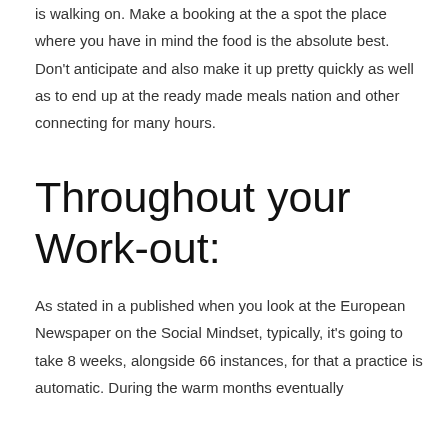is walking on. Make a booking at the a spot the place where you have in mind the food is the absolute best. Don't anticipate and also make it up pretty quickly as well as to end up at the ready made meals nation and other connecting for many hours.
Throughout your Work-out:
As stated in a published when you look at the European Newspaper on the Social Mindset, typically, it's going to take 8 weeks, alongside 66 instances, for that a practice is automatic. During the warm months eventually